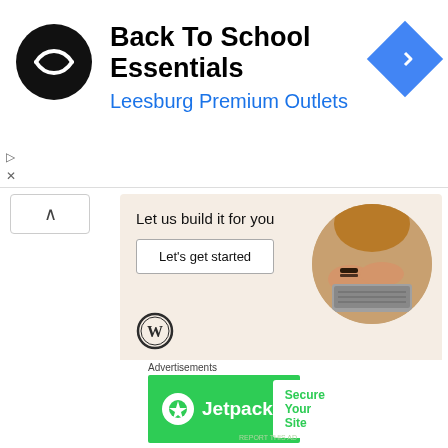[Figure (screenshot): Back To School Essentials ad banner for Leesburg Premium Outlets with black circular logo containing double arrow icon, and blue diamond navigation icon on right]
[Figure (screenshot): WordPress ad showing 'Let us build it for you' with 'Let's get started' button, WordPress logo, and circular photo of hands typing on laptop]
All the players are a bit worn out but the inspiration of a barbecue is enough to get them all ready for the final game of the training camp.
[Figure (screenshot): Jetpack advertisement banner on green background with 'Secure Your Site' white button]